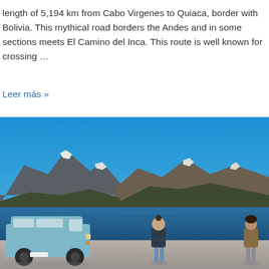length of 5,194 km from Cabo Virgenes to Quiaca, border with Bolivia. This mythical road borders the Andes and in some sections meets El Camino del Inca. This route is well known for crossing …
Leer más »
[Figure (photo): Outdoor photo of two people standing on a rocky/gravelly beach beside a light blue VW Transporter van, with a dark blue lake and snow-capped mountains in the background under a clear blue sky.]